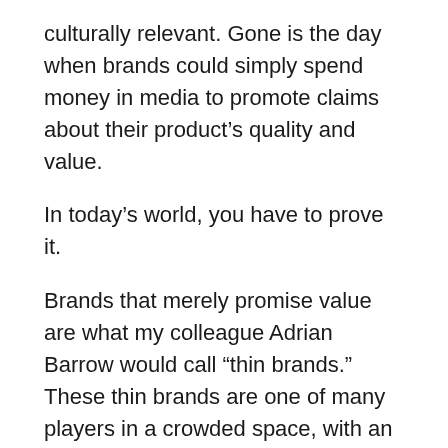culturally relevant. Gone is the day when brands could simply spend money in media to promote claims about their product's quality and value.
In today's world, you have to prove it.
Brands that merely promise value are what my colleague Adrian Barrow would call “thin brands.”  These thin brands are one of many players in a crowded space, with an offering that is hard to differentiate from their competitors. Thin brands are often companies with low margins, low